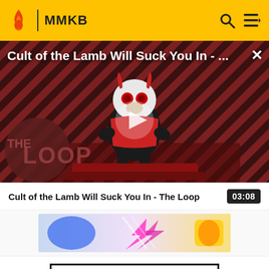MMKB
[Figure (screenshot): Video thumbnail for 'Cult of the Lamb Will Suck You In - The Loop' showing a stylized lamb character with red eyes on a diagonal striped background, with THE LOOP text in lower left. A play button triangle is visible in the center.]
Cult of the Lamb Will Suck You In - ...
Cult of the Lamb Will Suck You In - The Loop
03:08
[Figure (photo): Advertisement banner showing colorful action imagery with pink/blue streaks]
IN-GAME INFORMATION